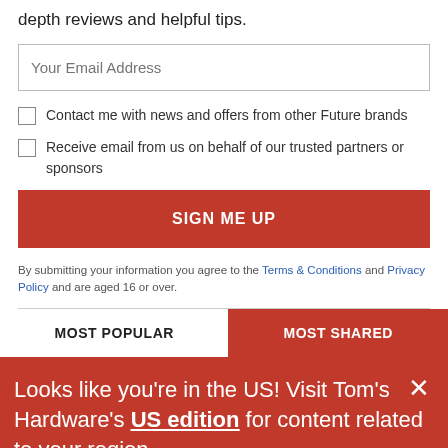depth reviews and helpful tips.
Your Email Address
Contact me with news and offers from other Future brands
Receive email from us on behalf of our trusted partners or sponsors
SIGN ME UP
By submitting your information you agree to the Terms & Conditions and Privacy Policy and are aged 16 or over.
MOST POPULAR
MOST SHARED
Looks like you're in the US! Visit Tom's Hardware's US edition for content related to your region.